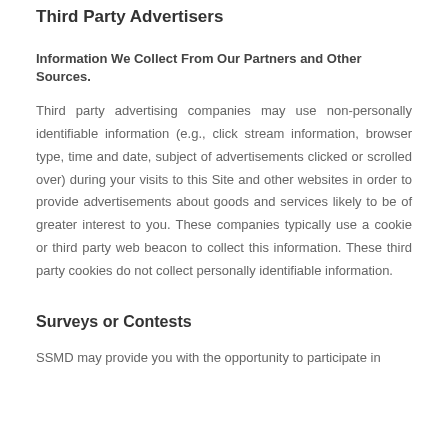Third Party Advertisers
Information We Collect From Our Partners and Other Sources.
Third party advertising companies may use non-personally identifiable information (e.g., click stream information, browser type, time and date, subject of advertisements clicked or scrolled over) during your visits to this Site and other websites in order to provide advertisements about goods and services likely to be of greater interest to you. These companies typically use a cookie or third party web beacon to collect this information. These third party cookies do not collect personally identifiable information.
Surveys or Contests
SSMD may provide you with the opportunity to participate in